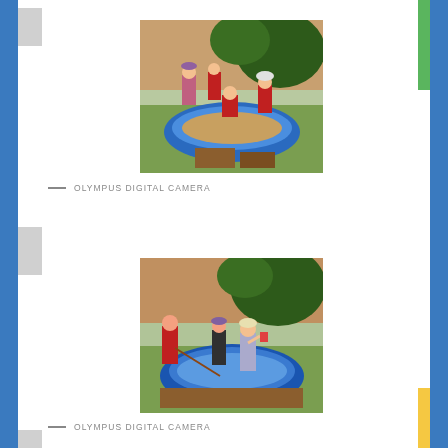[Figure (photo): Children playing outdoors in a blue inflatable pool/sand tray, set in a garden area with wooden fencing and a tree in the background. Several children visible including ones in red shirts and hats.]
OLYMPUS DIGITAL CAMERA
[Figure (photo): Children playing in a blue inflatable pool outdoors, one child holds a stick/pole into the water while others stand around the pool. Garden setting with wooden fence and tree in background.]
OLYMPUS DIGITAL CAMERA